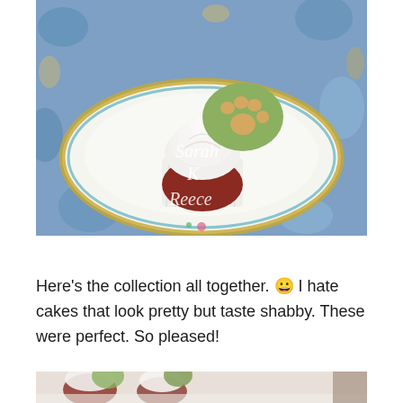[Figure (photo): A decorated cupcake on a floral china plate sitting on a blue floral fabric background. The cupcake has swirled white frosting and a green fondant disc with a paw print design made of small round candies. A watermark reads 'Sarah K Reece' in white script text.]
Here's the collection all together. 😀 I hate cakes that look pretty but taste shabby. These were perfect. So pleased!
[Figure (photo): Partial view of a collection of decorated cupcakes on a white surface.]